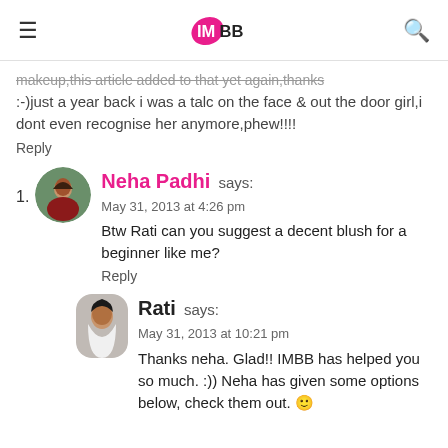IMBB
makeup,this article added to that yet again,thanks :-)just a year back i was a talc on the face & out the door girl,i dont even recognise her anymore,phew!!!!
Reply
1. Neha Padhi says:
May 31, 2013 at 4:26 pm
Btw Rati can you suggest a decent blush for a beginner like me?
Reply
Rati says:
May 31, 2013 at 10:21 pm
Thanks neha. Glad!! IMBB has helped you so much. :)) Neha has given some options below, check them out. 🙂